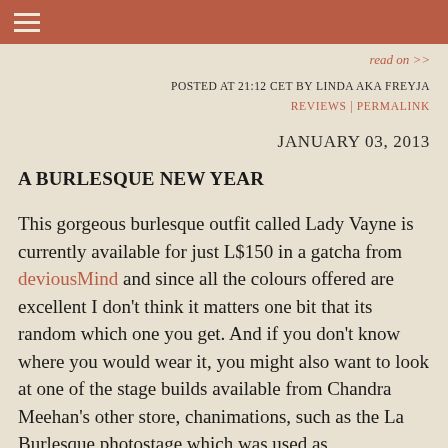≡
read on >>
POSTED AT 21:12 CET BY LINDA AKA FREYJA
REVIEWS | PERMALINK
JANUARY 03, 2013
A BURLESQUE NEW YEAR
This gorgeous burlesque outfit called Lady Vayne is currently available for just L$150 in a gatcha from deviousMind and since all the colours offered are excellent I don't think it matters one bit that its random which one you get. And if you don't know where you would wear it, you might also want to look at one of the stage builds available from Chandra Meehan's other store, chanimations, such as the La Burlesque photostage which was used as